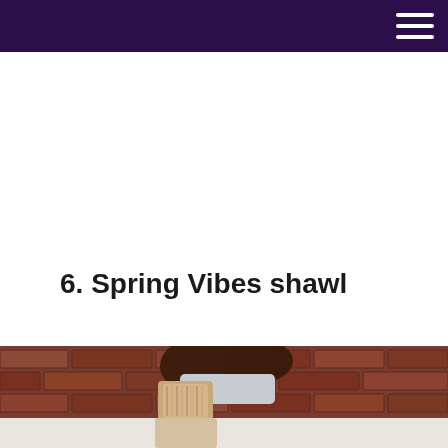6. Spring Vibes shawl
[Figure (photo): Person wearing a knitted shawl, photographed from behind against a brick wall background. The shawl appears to be a tan/cream colored textured knit.]